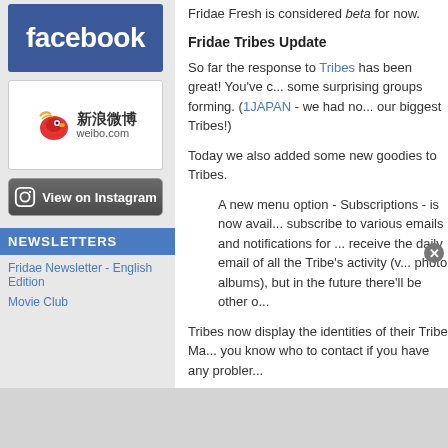[Figure (logo): Facebook logo - white 'facebook' text on blue background]
[Figure (logo): Sina Weibo logo - red bird icon with wifi waves, Chinese characters 新浪微博 and weibo.com text]
[Figure (logo): View on Instagram button - dark grey button with Instagram camera icon and white text]
NEWSLETTERS
Fridae Newsletter - English Edition
Movie Club
[Figure (logo): infolinks logo bar at bottom left]
Fridae Fresh is considered beta for now.
Fridae Tribes Update
So far the response to Tribes has been great! You've c... some surprising groups forming. (1JAPAN - we had no... our biggest Tribes!)
Today we also added some new goodies to Tribes.
A new menu option - Subscriptions - is now avail... subscribe to various emails and notifications for ... receive the daily email of all the Tribe's activity (v... photo albums), but in the future there'll be other o...
Tribes now display the identities of their Tribe Ma... you know who to contact if you have any probler...
Member profiles now display the Tribes that the m... listed Tribes). This is a function we were putting o...